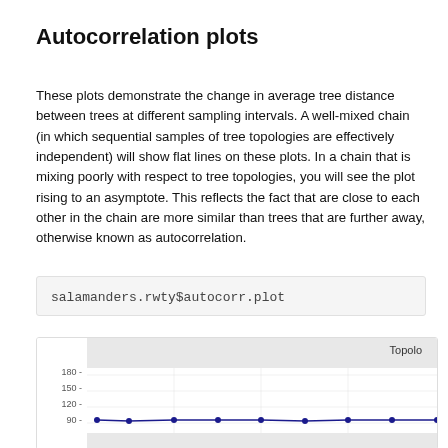Autocorrelation plots
These plots demonstrate the change in average tree distance between trees at different sampling intervals. A well-mixed chain (in which sequential samples of tree topologies are effectively independent) will show flat lines on these plots. In a chain that is mixing poorly with respect to tree topologies, you will see the plot rising to an asymptote. This reflects the fact that are close to each other in the chain are more similar than trees that are further away, otherwise known as autocorrelation.
salamanders.rwty$autocorr.plot
[Figure (line-chart): Autocorrelation plot showing topology distance (y-axis: 90, 120, 150, 180) vs sampling interval (x-axis). A nearly flat line of dark blue dots connected by a dark blue line at approximately y=90, indicating good mixing.]